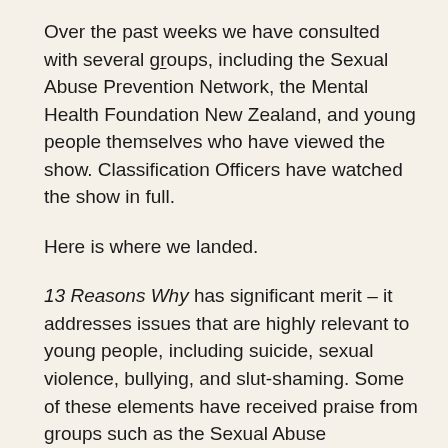Over the past weeks we have consulted with several groups, including the Sexual Abuse Prevention Network, the Mental Health Foundation New Zealand, and young people themselves who have viewed the show. Classification Officers have watched the show in full.
Here is where we landed.
13 Reasons Why has significant merit – it addresses issues that are highly relevant to young people, including suicide, sexual violence, bullying, and slut-shaming. Some of these elements have received praise from groups such as the Sexual Abuse Prevention Network, who have said that the show deals with issues like sexual consent really well. The teenagers on the show identify two instances of rape described on the tapes. It does not matter that Jessica was passed out